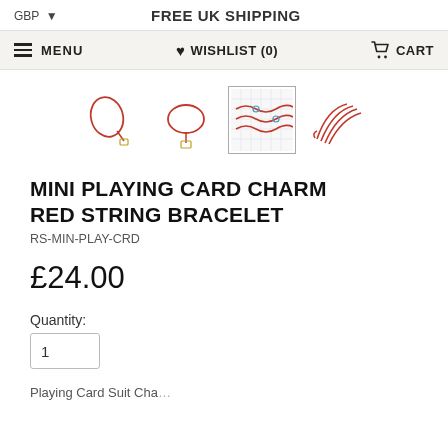GBP ▼   FREE UK SHIPPING
≡ MENU   ♥ WISHLIST (0)   🛒 CART
[Figure (photo): Four product thumbnail images of red string bracelets with charms: two individual bracelet shots, one flat-lay on grid paper, and one showing multiple bracelets fanned out.]
MINI PLAYING CARD CHARM RED STRING BRACELET
RS-MIN-PLAY-CRD
£24.00
Quantity:
Playing Card Suit Charms